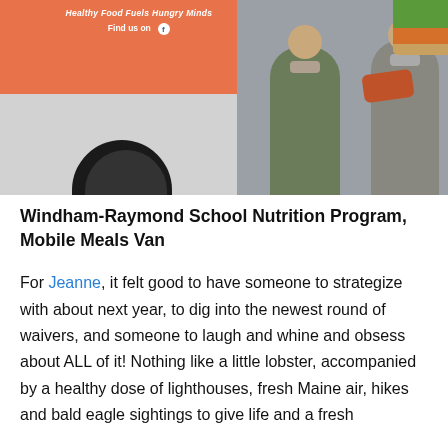[Figure (photo): Two women wearing face masks standing in front of an orange and white Mobile Meals Van with text 'Healthy Food Fuels Hungry Minds' and 'Find us on Facebook']
Windham-Raymond School Nutrition Program, Mobile Meals Van
For Jeanne, it felt good to have someone to strategize with about next year, to dig into the newest round of waivers, and someone to laugh and whine and obsess about ALL of it! Nothing like a little lobster, accompanied by a healthy dose of lighthouses, fresh Maine air, hikes and bald eagle sightings to give life and a fresh